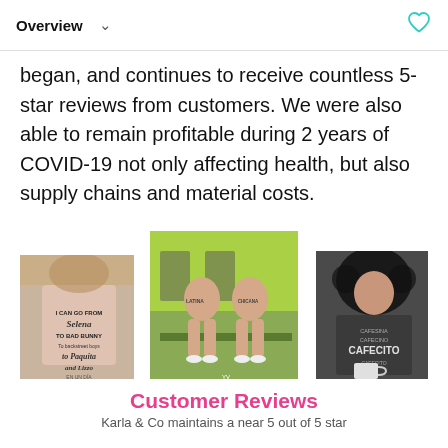Overview
began, and continues to receive countless 5-star reviews from customers. We were also able to remain profitable during 2 years of COVID-19 not only affecting health, but also supply chains and material costs.
[Figure (photo): Three product photos showing Latina-themed graphic t-shirts worn by models]
Customer Reviews
Karla & Co maintains a near 5 out of 5 star